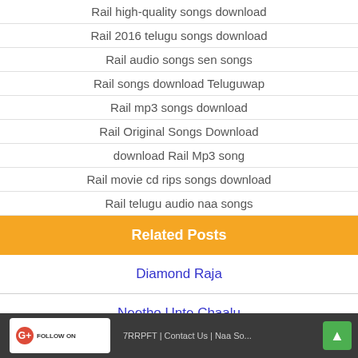Rail high-quality songs download
Rail 2016 telugu songs download
Rail audio songs sen songs
Rail songs download Teluguwap
Rail mp3 songs download
Rail Original Songs Download
download Rail Mp3 song
Rail movie cd rips songs download
Rail telugu audio naa songs
Related Posts
Diamond Raja
Neetho Unte Chaalu
Darja
Brahmastra
Gandharwa
FOLLOW ON | 7RRPFT | Contact Us | Naa So...